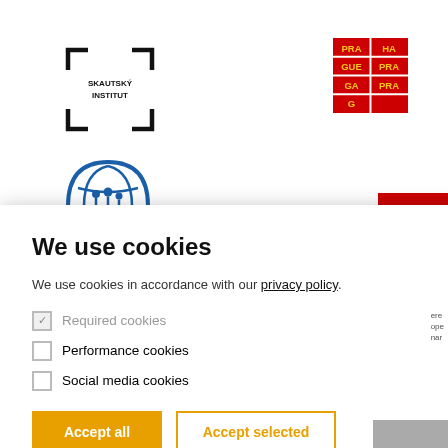[Figure (logo): Skautský Institut logo — arrows pointing outward at corners with text SKAUTSKÝ INSTITUT]
[Figure (logo): Prague city logo — red/yellow grid with PRA, HA, GUE, PRA, GA, PRA, G text]
[Figure (logo): Blue globe with people/family figures underneath, partially visible]
[Figure (logo): Partial red logo visible at top right — EATIGUE text visible]
We use cookies
We use cookies in accordance with our privacy policy.
Required cookies (checked, disabled)
Performance cookies
Social media cookies
Accept all | Accept selected